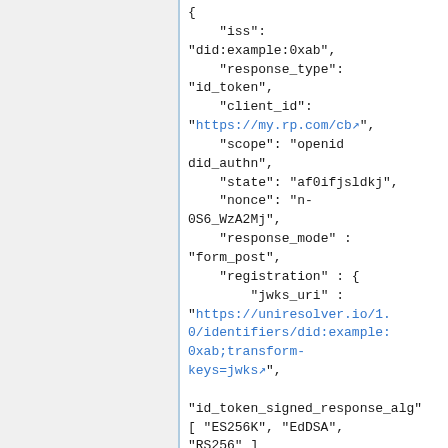[Figure (screenshot): A code snippet showing a JSON/JWT authorization request object with fields: iss, response_type, client_id (with URL https://my.rp.com/cb), scope, state, nonce, response_mode, registration containing jwks_uri (with URL https://uniresolver.io/1.0/identifiers/did:example:0xab;transform-keys=jwks), id_token_signed_response_alg, and an array [ ES256K, EdDSA, RS256 ]. The left portion shows a grey sidebar separated by a blue vertical line from the white code area.]